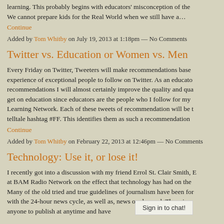learning. This probably begins with educators' misconception of the... We cannot prepare kids for the Real World when we still have a…
Continue
Added by Tom Whitby on July 19, 2013 at 1:18pm — No Comments
Twitter vs. Education or Women vs. Men
Every Friday on Twitter, Tweeters will make recommendations based on experience of exceptional people to follow on Twitter. As an educator recommendations I will almost certainly improve the quality and quality get on education since educators are the people who I follow for my Learning Network. Each of these tweets of recommendation will be telltale hashtag #FF. This identifies them as such a recommendation
Continue
Added by Tom Whitby on February 22, 2013 at 12:46pm — No Comments
Technology: Use it, or lose it!
I recently got into a discussion with my friend Errol St. Clair Smith, E at BAM Radio Network on the effect that technology has had on the Many of the old tried and true guidelines of journalism have been fo with the 24-hour news cycle, as well as, news on demand. There is a anyone to publish at anytime and have
Sign in to chat!